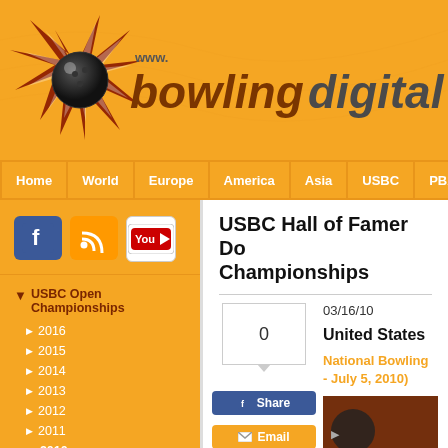[Figure (logo): www.bowlingdigital.com logo with bowling ball and starburst on orange background]
Home | World | Europe | America | Asia | USBC | PBA
[Figure (logo): Facebook icon]
[Figure (logo): RSS feed icon]
[Figure (logo): YouTube icon]
USBC Open Championships
2016
2015
2014
2013
2012
2011
2010
2009
2008
2007
USBC Hall of Famer Do Championships
03/16/10
United States
National Bowling - July 5, 2010)